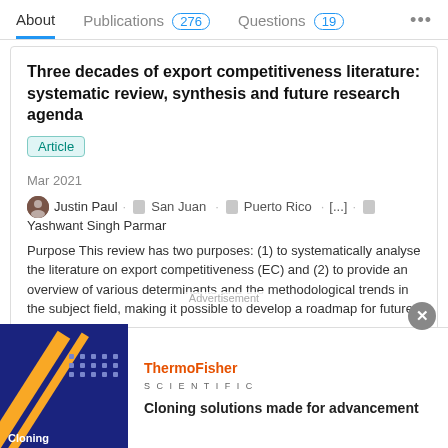About  Publications 276  Questions 19  ...
Three decades of export competitiveness literature: systematic review, synthesis and future research agenda
Article
Mar 2021
Justin Paul · San Juan · Puerto Rico · [...] · Yashwant Singh Parmar
Purpose This review has two purposes: (1) to systematically analyse the literature on export competitiveness (EC) and (2) to provide an overview of various determinants and the methodological trends in the subject field, making it possible to develop a roadmap for future researchers.
Advertisement
[Figure (photo): Advertisement banner with dark blue background showing Cloning label and dots grid pattern with yellow diagonal lines]
ThermoFisher SCIENTIFIC
Cloning solutions made for advancement